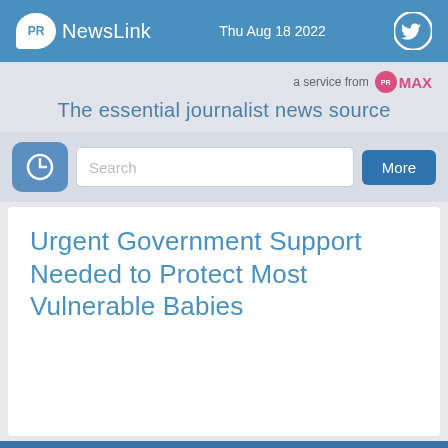PR NewsLink — Thu Aug 18 2022
a service from PRMAX
The essential journalist news source
[Figure (screenshot): Search bar with clock icon and More button]
Urgent Government Support Needed to Protect Most Vulnerable Babies
Home page | About us | Privacy policy | Terms & conditions | Contact us | Site map